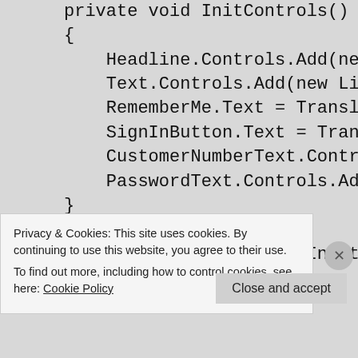[Figure (screenshot): Code snippet showing C# InitControls method with lines: private void InitControls() { Headline.Controls.Add(ne... Text.Controls.Add(new Li... RememberMe.Text = Transl... SignInButton.Text = Tran... CustomerNumberText.Contr... PasswordText.Controls.Ad... } protected void SignInButton_...]
Privacy & Cookies: This site uses cookies. By continuing to use this website, you agree to their use.
To find out more, including how to control cookies, see here: Cookie Policy
Close and accept